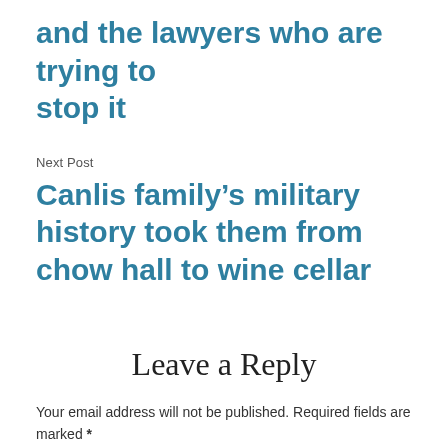and the lawyers who are trying to stop it
Next Post
Canlis family’s military history took them from chow hall to wine cellar
Leave a Reply
Your email address will not be published. Required fields are marked *